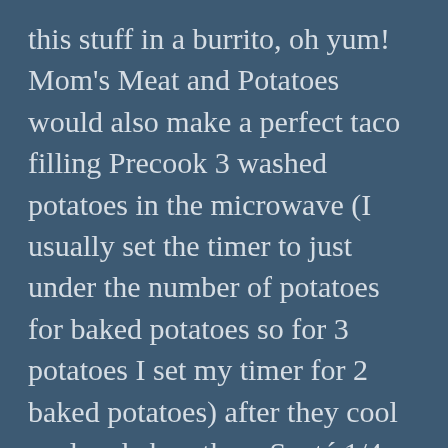this stuff in a burrito, oh yum! Mom's Meat and Potatoes would also make a perfect taco filling Precook 3 washed potatoes in the microwave (I usually set the timer to just under the number of potatoes for baked potatoes so for 3 potatoes I set my timer for 2 baked potatoes) after they cool peel and chop them Sauté 1/4 cup chopped onion in 1 tablespoon of olive oil for about 5 minutes Add in 1 pound ground round or ground turkey, cook the meat until